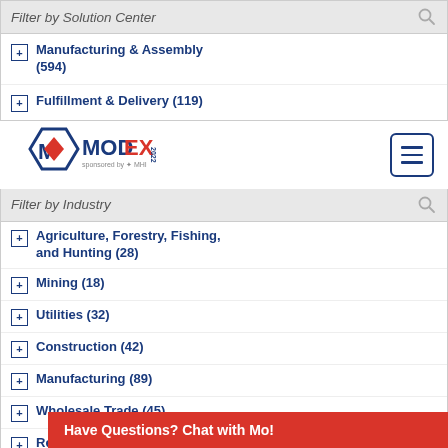Filter by Solution Center
Manufacturing & Assembly (594)
Fulfillment & Delivery (119)
[Figure (logo): MODEX 2022 logo with MHI sponsor mark]
Filter by Industry
Agriculture, Forestry, Fishing, and Hunting (28)
Mining (18)
Utilities (32)
Construction (42)
Manufacturing (89)
Wholesale Trade (45)
Retail Trade (53)
Transportation and Warehousing
Information
Have Questions? Chat with Mo!